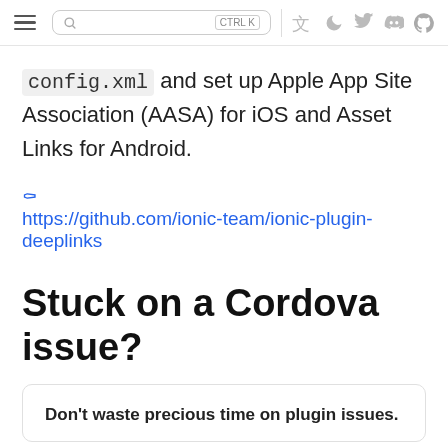config.xml and set up Apple App Site Association (AASA) for iOS and Asset Links for Android.
https://github.com/ionic-team/ionic-plugin-deeplinks
Stuck on a Cordova issue?
Don't waste precious time on plugin issues.